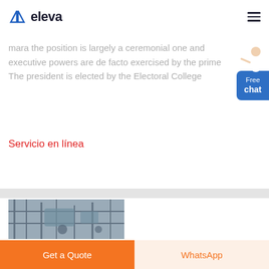eleva
mara the position is largely a ceremonial one and executive powers are de facto exercised by the prime The president is elected by the Electoral College
Servicio en línea
[Figure (photo): Industrial machinery or factory equipment photo]
Get a Quote
WhatsApp